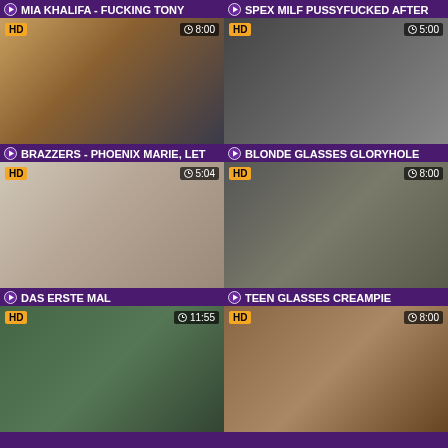MIA KHALIFA - FUCKING TONY
SPEX MILF PUSSYFUCKED AFTER
[Figure (screenshot): Video thumbnail HD 8:00]
[Figure (screenshot): Video thumbnail HD 5:00]
BRAZZERS - PHOENIX MARIE, LET
BLONDE GLASSES GLORYHOLE
[Figure (screenshot): Video thumbnail HD 5:04]
[Figure (screenshot): Video thumbnail HD 8:00]
DAS ERSTE MAL
TEEN GLASSES CREAMPIE
[Figure (screenshot): Video thumbnail HD 11:55]
[Figure (screenshot): Video thumbnail HD 8:00]